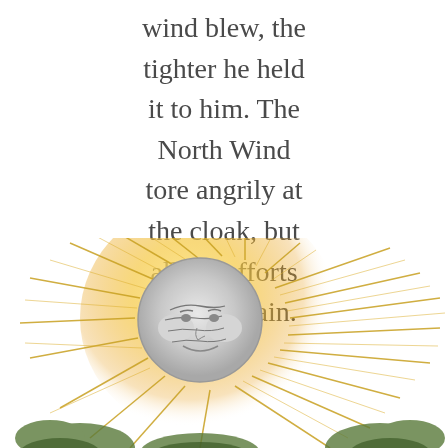wind blew, the tighter he held it to him. The North Wind tore angrily at the cloak, but all his efforts were in vain.
[Figure (illustration): An illustration of a stylized sun face with a round silver/grey face showing wind-blowing features (cheeks puffed, swirling lines) surrounded by yellow and golden radiating rays, with green foliage visible at the bottom edges.]